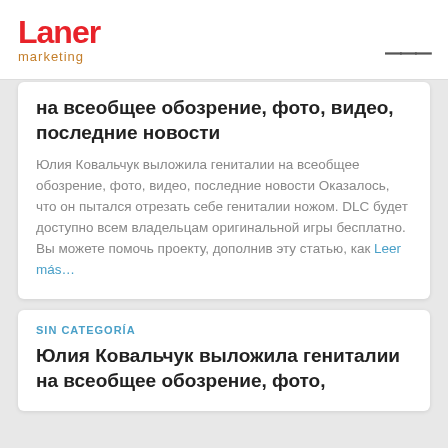Laner marketing
на всеобщее обозрение, фото, видео, последние новости
Юлия Ковальчук выложила гениталии на всеобщее обозрение, фото, видео, последние новости Оказалось, что он пытался отрезать себе гениталии ножом. DLC будет доступно всем владельцам оригинальной игры бесплатно. Вы можете помочь проекту, дополнив эту статью, как Leer más…
SIN CATEGORÍA
Юлия Ковальчук выложила гениталии на всеобщее обозрение, фото,